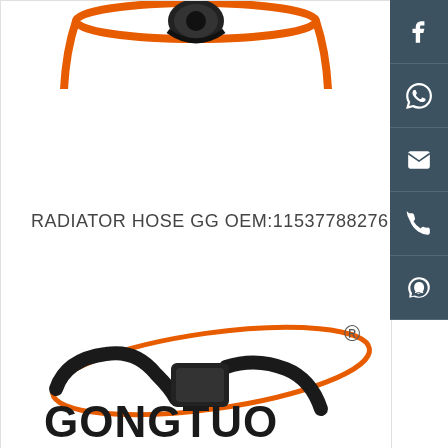[Figure (photo): Partial view of an orange and black radiator hose product at top of page]
RADIATOR HOSE GG OEM:11537788276
[Figure (logo): GONGTUO brand logo with orange ellipse swoosh and registered trademark symbol, with a black radiator hose product image in front]
[Figure (other): Sidebar with social/contact icon buttons: Facebook, WhatsApp, Email, Phone, QQ]